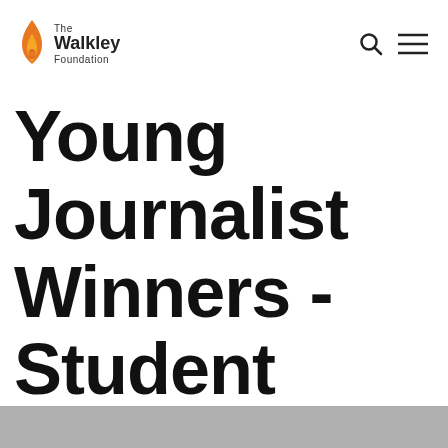[Figure (logo): The Walkley Foundation logo — flame icon in orange and gold, with text 'The Walkley Foundation']
Young Journalist Winners - Student journalist